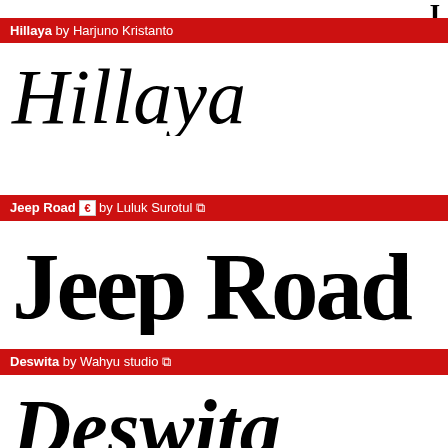Hillaya by Harjuno Kristanto
[Figure (illustration): Font preview showing 'Hillaya' in a cursive/script style font]
Jeep Road by Luluk Surotul
[Figure (illustration): Font preview showing 'Jeep Road' in a bold decorative font, partially visible]
Deswita by Wahyu studio
[Figure (illustration): Font preview showing 'Deswita' in a bold cursive/script font]